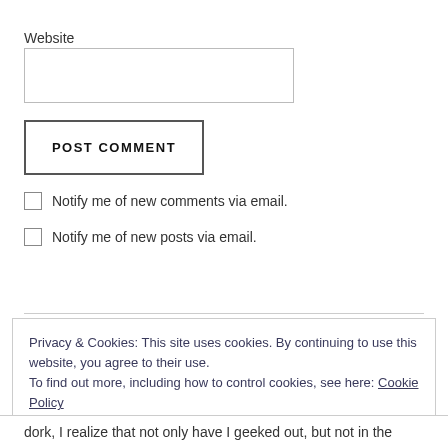Website
POST COMMENT
Notify me of new comments via email.
Notify me of new posts via email.
Privacy & Cookies: This site uses cookies. By continuing to use this website, you agree to their use.
To find out more, including how to control cookies, see here: Cookie Policy
Close and accept
dork, I realize that not only have I geeked out, but not in the